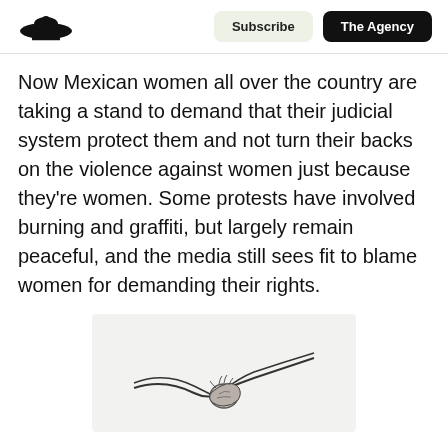Subscribe | The Agency
Now Mexican women all over the country are taking a stand to demand that their judicial system protect them and not turn their backs on the violence against women just because they're women. Some protests have involved burning and graffiti, but largely remain peaceful, and the media still sees fit to blame women for demanding their rights.
[Figure (illustration): Illustration of two hands clasped together, depicted in a simple line drawing style, on a light gray background.]